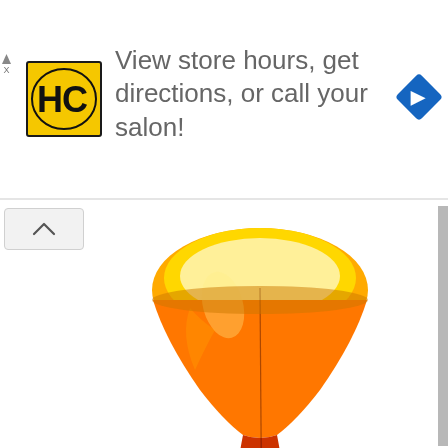[Figure (screenshot): Ad banner with HC (Hair Club) yellow square logo on left, navigation arrow diamond icon on right, text reading 'View store hours, get directions, or call your salon!']
[Figure (photo): Orange and red hourglass-shaped glass table lamp (Carlo Nason AV Mazzega LT216 Table Lamp) on white background]
Carlo Nason AV Mazzega LT216 Table Lamp
Rustic Antler Lighting
Buy You Chandelier Here